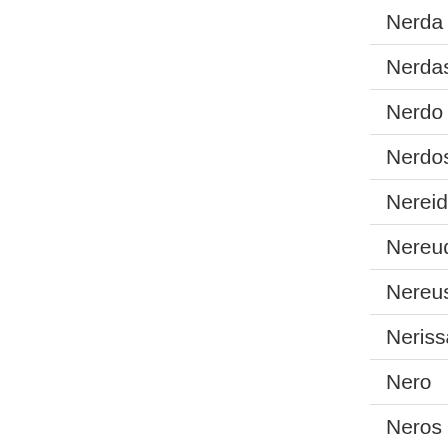| Nerda |
| Nerdas |
| Nerdo |
| Nerdos |
| Nereide |
| Nereud |
| Nereus |
| Nerissa |
| Nero |
| Neros |
| Nerro |
| Nerry |
| Nerus |
| Nerz |
| Nerza |